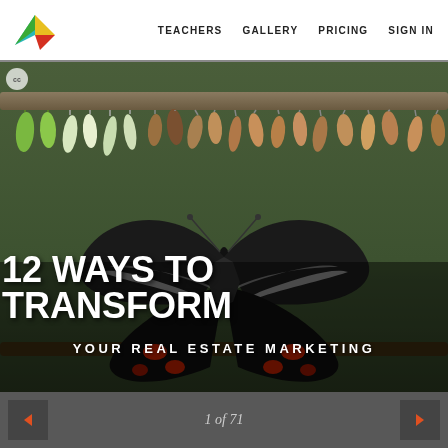[Figure (logo): Colorful origami bird/crane logo in teal, green, yellow, red colors]
TEACHERS   GALLERY   PRICING   SIGN IN
[Figure (photo): Close-up photo of a large black butterfly with white stripe markings and red spots on lower wings, surrounded by hanging chrysalises in various stages of development on a branch, blurred green background. Overlaid text: '12 WAYS TO TRANSFORM YOUR REAL ESTATE MARKETING']
12 WAYS TO TRANSFORM
YOUR REAL ESTATE MARKETING
1 of 71